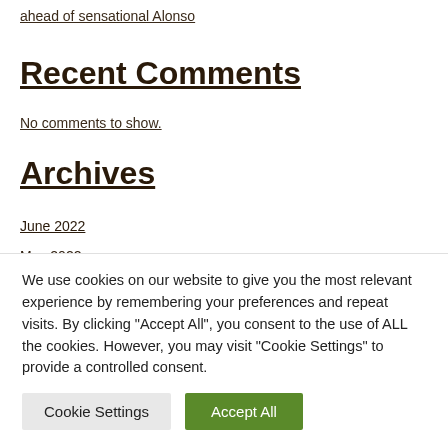ahead of sensational Alonso
Recent Comments
No comments to show.
Archives
June 2022
May 2022
Categories
business
We use cookies on our website to give you the most relevant experience by remembering your preferences and repeat visits. By clicking “Accept All”, you consent to the use of ALL the cookies. However, you may visit "Cookie Settings" to provide a controlled consent.